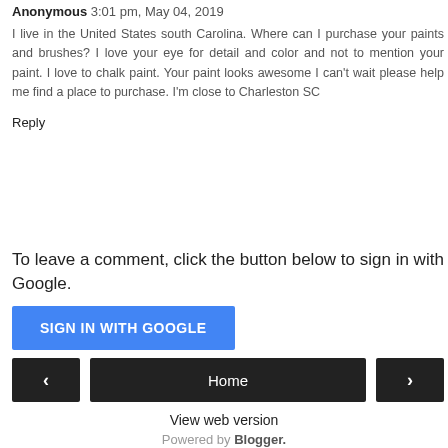Anonymous 3:01 pm, May 04, 2019
I live in the United States south Carolina. Where can I purchase your paints and brushes? I love your eye for detail and color and not to mention your paint. I love to chalk paint. Your paint looks awesome I can't wait please help me find a place to purchase. I'm close to Charleston SC
Reply
To leave a comment, click the button below to sign in with Google.
[Figure (other): Blue 'SIGN IN WITH GOOGLE' button]
[Figure (other): Navigation bar with left arrow button, Home button, and right arrow button]
View web version
Powered by Blogger.